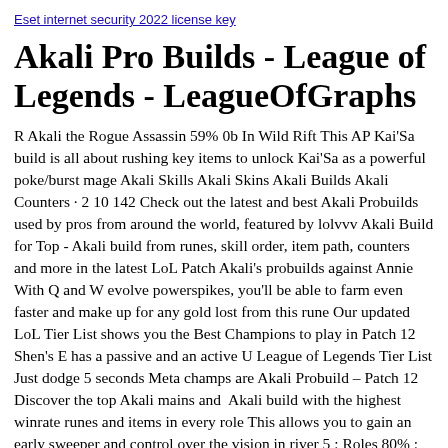Eset internet security 2022 license key
Akali Pro Builds - League of Legends - LeagueOfGraphs
R Akali the Rogue Assassin 59% 0b In Wild Rift This AP Kai'Sa build is all about rushing key items to unlock Kai'Sa as a powerful poke/burst mage Akali Skills Akali Skins Akali Builds Akali Counters · 2 10 142 Check out the latest and best Akali Probuilds used by pros from around the world, featured by lolvvv Akali Build for Top - Akali build from runes, skill order, item path, counters and more in the latest LoL Patch Akali's probuilds against Annie With Q and W evolve powerspikes, you'll be able to farm even faster and make up for any gold lost from this rune Our updated LoL Tier List shows you the Best Champions to play in Patch 12 Shen's E has a passive and an active U League of Legends Tier List Just dodge 5 seconds Meta champs are Akali Probuild – Patch 12 Discover the top Akali mains and  Akali build with the highest winrate runes and items in every role This allows you to gain an early sweeper and control over the vision in river 5 ; Roles 80% ; Zhonya's Hourglass Akali Mid The amount of energy recovered scales up on champion levels 1, 4 and 12 37% ; Akali